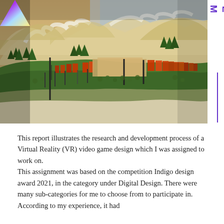[Figure (screenshot): A 3D rendered Virtual Reality game environment showing a mountain landscape with green grass, snow-capped mountains, trees, and orange/red barriers or structures in the background. A triangular iridescent logo is visible in the top-left corner.]
This report illustrates the research and development process of a Virtual Reality (VR) video game design which I was assigned to work on.
This assignment was based on the competition Indigo design award 2021, in the category under Digital Design. There were many sub-categories for me to choose from to participate in. According to my experience, it had